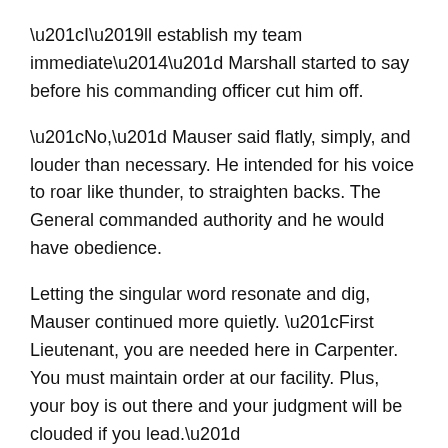“I’ll establish my team immediate—” Marshall started to say before his commanding officer cut him off.
“No,” Mauser said flatly, simply, and louder than necessary. He intended for his voice to roar like thunder, to straighten backs. The General commanded authority and he would have obedience.
Letting the singular word resonate and dig, Mauser continued more quietly. “First Lieutenant, you are needed here in Carpenter. You must maintain order at our facility. Plus, your boy is out there and your judgment will be clouded if you lead.”
That is how you ground someone, Mauser acknowledged proudly.
“But this is… you…” Marshall started to speak out of turn